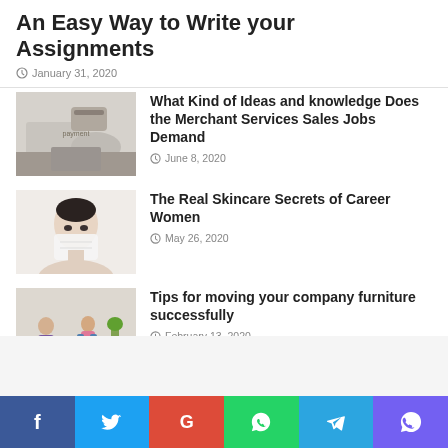An Easy Way to Write your Assignments
January 31, 2020
What Kind of Ideas and knowledge Does the Merchant Services Sales Jobs Demand
June 8, 2020
The Real Skincare Secrets of Career Women
May 26, 2020
Tips for moving your company furniture successfully
February 13, 2020
f  t  G  [WhatsApp]  [Telegram]  [Viber]